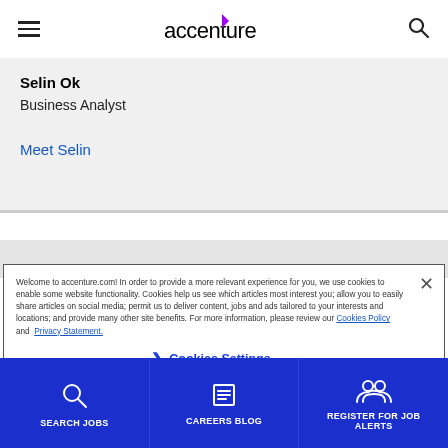Accenture
Selin Ok
Business Analyst
Meet Selin
Welcome to accenture.com! In order to provide a more relevant experience for you, we use cookies to enable some website functionality. Cookies help us see which articles most interest you; allow you to easily share articles on social media; permit us to deliver content, jobs and ads tailored to your interests and locations; and provide many other site benefits. For more information, please review our Cookies Policy and Privacy Statement.
Cookies Settings
SEARCH JOBS | CAREERS BLOG | REGISTER FOR JOB ALERTS